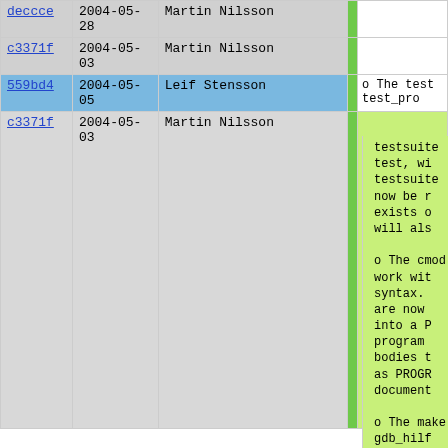| hash | date | author |  | message |
| --- | --- | --- | --- | --- |
| deccce | 2004-05-28 | Martin Nilsson |  |  |
| c3371f | 2004-05-03 | Martin Nilsson |  |  |
| 559bd4 | 2004-05-05 | Leif Stensson |  | o The test test_pro |
| c3371f | 2004-05-03 | Martin Nilsson |  | testsuite test, wi testsuite now be r exists o will als

o The cmod work wit syntax. are now into a P program bodies t as PROGR document

o The make gdb_hilf

o The head PIKE_MOD instead.

o The back |